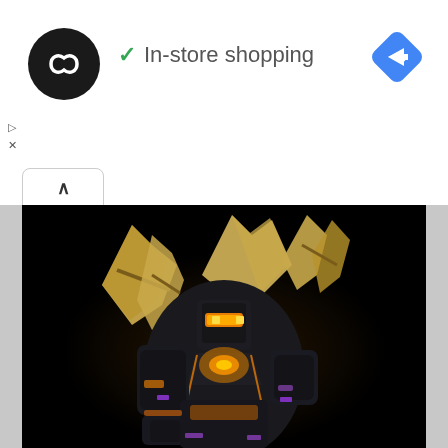[Figure (logo): Black circular app icon with white infinity/loop symbol]
✓ In-store shopping
[Figure (logo): Blue diamond-shaped navigation/directions icon with white arrow]
[Figure (other): Small play triangle and X icons on left side]
[Figure (other): Up chevron tab/button]
[Figure (photo): Dark mecha/Gundam robot figure with gold wing-like fin funnels and glowing orange accents on a black background]